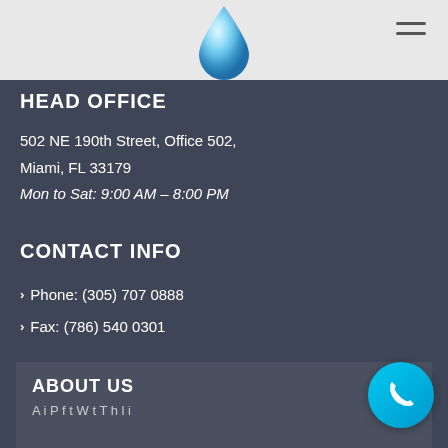[Figure (logo): Water droplet logo in blue gradient, centered in the navigation bar]
HEAD OFFICE
502 NE 190th Street, Office 502,
Miami, FL 33179
Mon to Sat: 9:00 AM – 8:00 PM
CONTACT INFO
Phone: (305) 707 0888
Fax: (786) 540 0301
ABOUT US